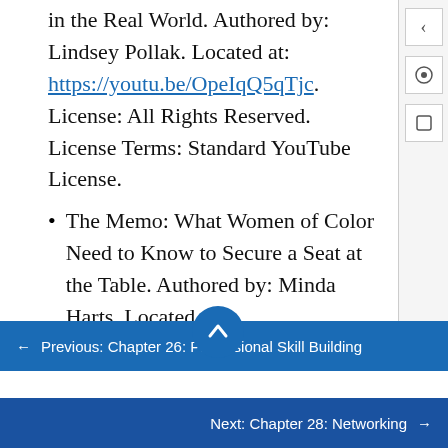in the Real World. Authored by: Lindsey Pollak. Located at: https://youtu.be/OpeIqQ5qTjc. License: All Rights Reserved. License Terms: Standard YouTube License.
The Memo: What Women of Color Need to Know to Secure a Seat at the Table. Authored by: Minda Harts. Located at: https://www.youtube.com/watch?v=itvVil3h07M&t=3s. License: All Rights Reserved. License Terms: Standard
← Previous: Chapter 26: Professional Skill Building
Next: Chapter 28: Networking →